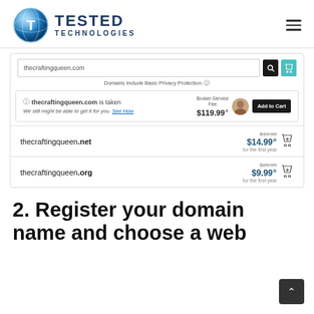[Figure (logo): Tested Technologies logo with blue globe icon and text TESTED TECHNOLOGIES]
[Figure (screenshot): Screenshot of a domain registrar search page showing thecraftingqueen.com is taken with broker service fee $119.99, thecraftingqueen.net at $14.99 (was $19.99) and thecraftingqueen.org at $9.99 (was $20.99)]
2. Register your domain name and choose a web